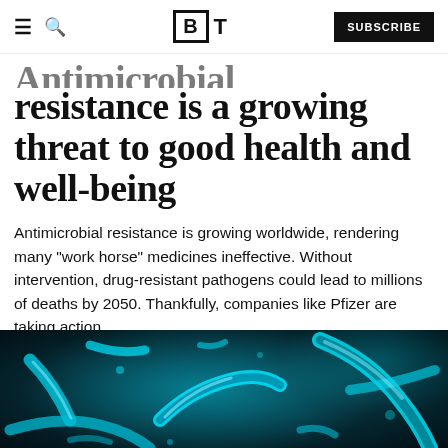BT — SUBSCRIBE
Antimicrobial resistance is a growing threat to good health and well-being
Antimicrobial resistance is growing worldwide, rendering many "work horse" medicines ineffective. Without intervention, drug-resistant pathogens could lead to millions of deaths by 2050. Thankfully, companies like Pfizer are taking action.
[Figure (photo): Microscopic image of bacteria/pathogens rendered in blue-green teal tones on a dark background, showing rod-shaped and curved microbial forms.]